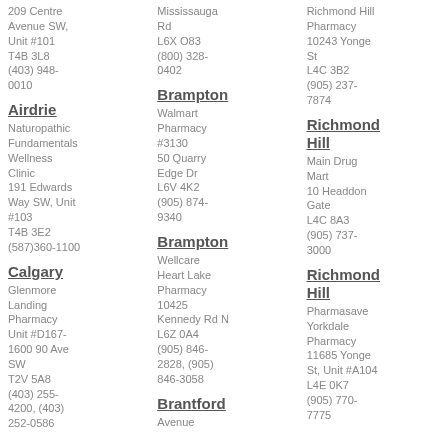209 Centre Avenue SW, Unit #101 T4B 3L8 (403) 948-0010
Airdrie
Naturopathic Fundamentals Wellness Clinic 191 Edwards Way SW, Unit #103 T4B 3E2 (587)360-1100
Calgary
Glenmore Landing Pharmacy Unit #D167-1600 90 Ave SW T2V 5A8 (403) 255-4200, (403) 252-0586
Mississauga Rd L6X O83 (800) 328-0402
Brampton
Walmart Pharmacy #3130 50 Quarry Edge Dr L6V 4K2 (905) 874-9340
Brampton
Wellcare Heart Lake Pharmacy 10425 Kennedy Rd N L6Z 0A4 (905) 846-2828, (905) 846-3058
Brantford
Avenue
Richmond Hill Pharmacy 10243 Yonge St L4C 3B2 (905) 237-7874
Richmond Hill
Main Drug Mart 10 Headdon Gate L4C 8A3 (905) 737-3000
Richmond Hill
Pharmasave Yorkdale Pharmacy 11685 Yonge St, Unit #A104 L4E 0K7 (905) 770-7775